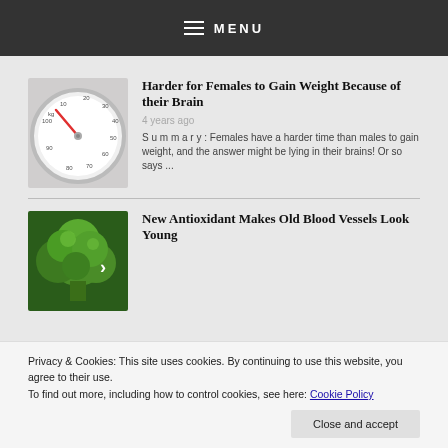MENU
[Figure (photo): A weighing scale showing kg markings with a red needle, close-up photograph]
Harder for Females to Gain Weight Because of their Brain
4 years ago
Summary: Females have a harder time than males to gain weight, and the answer might be lying in their brains! Or so says ...
[Figure (photo): Close-up photograph of broccoli florets, green vegetables]
New Antioxidant Makes Old Blood Vessels Look Young
Privacy & Cookies: This site uses cookies. By continuing to use this website, you agree to their use.
To find out more, including how to control cookies, see here: Cookie Policy
Close and accept